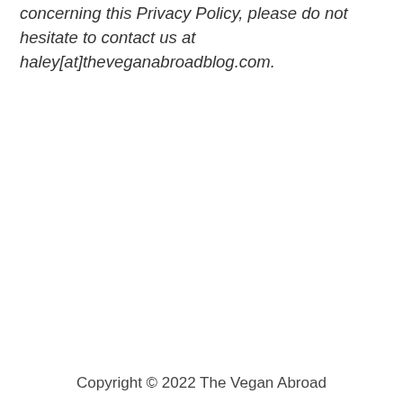concerning this Privacy Policy, please do not hesitate to contact us at haley[at]theveganabroadblog.com.
Copyright © 2022 The Vegan Abroad